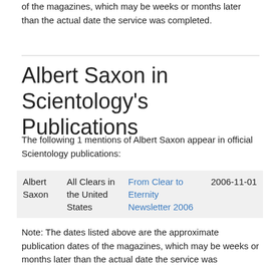of the magazines, which may be weeks or months later than the actual date the service was completed.
Albert Saxon in Scientology's Publications
The following 1 mentions of Albert Saxon appear in official Scientology publications:
|  |  |  |  |
| --- | --- | --- | --- |
| Albert Saxon | All Clears in the United States | From Clear to Eternity Newsletter 2006 | 2006-11-01 |
Note: The dates listed above are the approximate publication dates of the magazines, which may be weeks or months later than the actual date the service was completed.
Albert Saxon and the Clear List
No entries were found in my Scientology Statistics Project